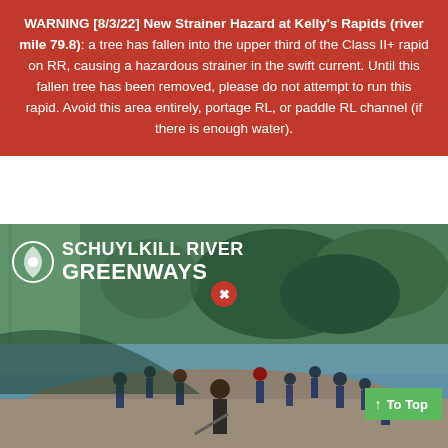WARNING [8/3/22] New Strainer Hazard at Kelly's Rapids (river mile 79.8): a tree has fallen into the upper third of the Class II+ rapid on RR, causing a hazardous strainer in the swift current. Until this fallen tree has been removed, please do not attempt to run this rapid. Avoid this area entirely, portage RL, or paddle RL channel (if there is enough water).
[Figure (photo): Photo of someone holding a large check with colorful green and yellow circular decorations in the background]
[Figure (photo): Schuylkill River Greenways logo and photo of a group of children and adults standing in a shallow river on a rocky bank, with green trees and a bridge in the background]